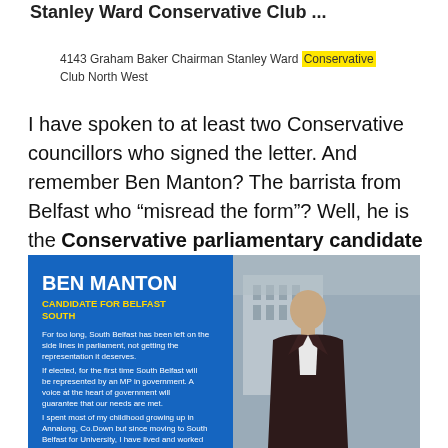Stanley Ward Conservative Club ...
4143 Graham Baker Chairman Stanley Ward Conservative Club North West
I have spoken to at least two Conservative councillors who signed the letter. And remember Ben Manton? The barrista from Belfast who “misread the form”? Well, he is the Conservative parliamentary candidate for his constituency.
[Figure (photo): Ben Manton candidate card for Belfast South showing his name, title 'CANDIDATE FOR BELFAST SOUTH', campaign text, and a photo of a young man in a suit against a building backdrop.]